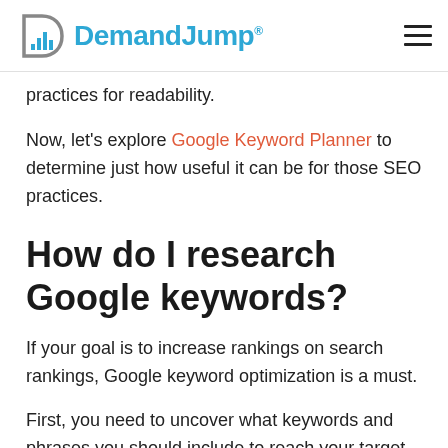DemandJump
practices for readability.
Now, let's explore Google Keyword Planner to determine just how useful it can be for those SEO practices.
How do I research Google keywords?
If your goal is to increase rankings on search rankings, Google keyword optimization is a must.
First, you need to uncover what keywords and phrases you should include to reach your target